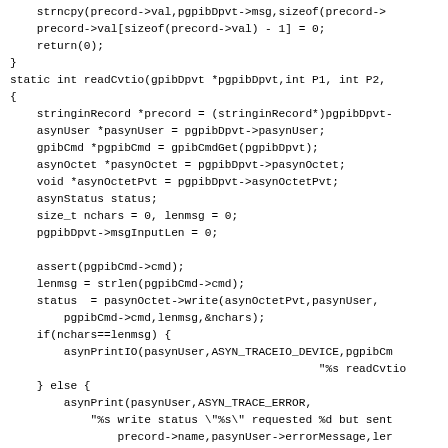strncpy(precord->val,pgpibDpvt->msg,sizeof(precord->
    precord->val[sizeof(precord->val) - 1] = 0;
    return(0);
}
static int readCvtio(gpibDpvt *pgpibDpvt,int P1, int P2,
{
    stringinRecord *precord = (stringinRecord*)pgpibDpvt-
    asynUser *pasynUser = pgpibDpvt->pasynUser;
    gpibCmd *pgpibCmd = gpibCmdGet(pgpibDpvt);
    asynOctet *pasynOctet = pgpibDpvt->pasynOctet;
    void *asynOctetPvt = pgpibDpvt->asynOctetPvt;
    asynStatus status;
    size_t nchars = 0, lenmsg = 0;
    pgpibDpvt->msgInputLen = 0;

    assert(pgpibCmd->cmd);
    lenmsg = strlen(pgpibCmd->cmd);
    status  = pasynOctet->write(asynOctetPvt,pasynUser,
        pgpibCmd->cmd,lenmsg,&nchars);
    if(nchars==lenmsg) {
        asynPrintIO(pasynUser,ASYN_TRACEIO_DEVICE,pgpibCm
                                              "%s readCvtio
    } else {
        asynPrint(pasynUser,ASYN_TRACE_ERROR,
            "%s write status \"%s\" requested %d but sent
                precord->name,pasynUser->errorMessage,ler
            return -1;
    }
    if(!pgpibDpvt->msg) {
        asynPrint(pasynUser,ASYN_TRACE_ERROR,
            "%s pgpibDpvt->msg is null)n precord->name)